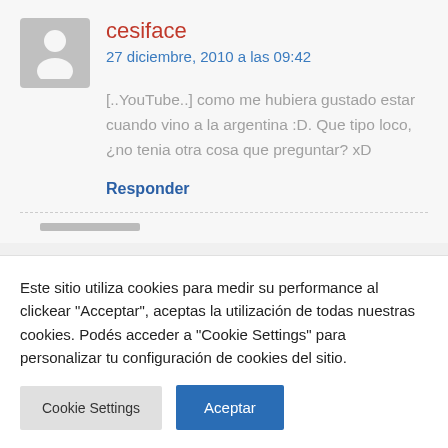cesiface
27 diciembre, 2010 a las 09:42
[..YouTube..] como me hubiera gustado estar cuando vino a la argentina :D. Que tipo loco, ¿no tenia otra cosa que preguntar? xD
Responder
Este sitio utiliza cookies para medir su performance al clickear "Acceptar", aceptas la utilización de todas nuestras cookies. Podés acceder a "Cookie Settings" para personalizar tu configuración de cookies del sitio.
Cookie Settings
Aceptar